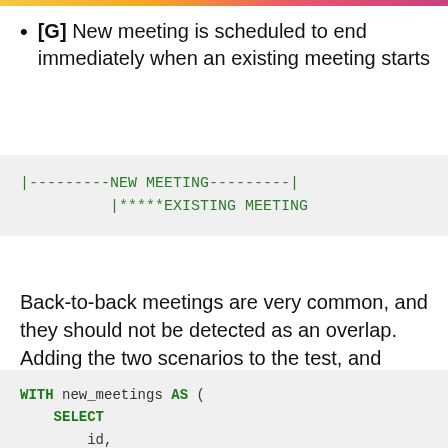[G] New meeting is scheduled to end immediately when an existing meeting starts
[Figure (other): ASCII diagram showing NEW MEETING timeline followed by EXISTING MEETING starting at the same point]
Back-to-back meetings are very common, and they should not be detected as an overlap. Adding the two scenarios to the test, and trying the query:
WITH new_meetings AS (
    SELECT
        id,
        starts_at::timestamptz as starts_at,
        ends_at::timestamptz as ends_at
    FROM (VALUES